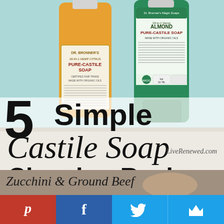[Figure (photo): Two Dr. Bronner's Pure-Castile Soap bottles (orange Hemp Citrus and green Hemp Almond) photographed against a light teal background with title text overlay reading '5 Simple Castile Soap Cleaning Recipes' and LiveRenewed.com watermark]
5 Simple Castile Soap Cleaning Recipes
LiveRenewed.com
[Figure (photo): Partial photo showing 'Zucchini & Ground Beef' text over a food image]
[Figure (infographic): Social sharing bar with Pinterest (red), Facebook (dark blue), Twitter (light blue), and crown/Feedly (light blue) buttons]